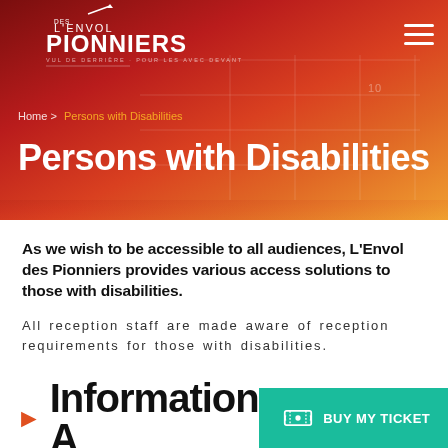[Figure (logo): L'Envol des Pionniers logo — white text on red/orange gradient background with arrow motif]
Home > Persons with Disabilities
Persons with Disabilities
As we wish to be accessible to all audiences, L'Envol des Pionniers provides various access solutions to those with disabilities.
All reception staff are made aware of reception requirements for those with disabilities.
Information A…